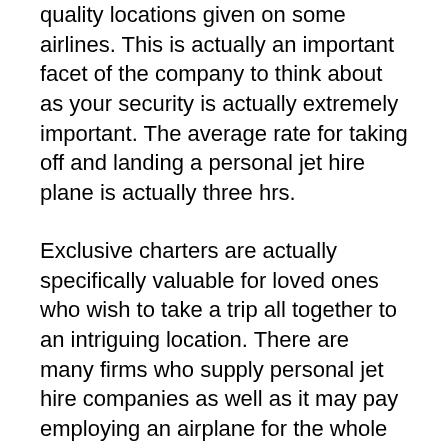quality locations given on some airlines. This is actually an important facet of the company to think about as your security is actually extremely important. The average rate for taking off and landing a personal jet hire plane is actually three hrs.
Exclusive charters are actually specifically valuable for loved ones who wish to take a trip all together to an intriguing location. There are many firms who supply personal jet hire companies as well as it may pay employing an airplane for the whole entire loved ones to journey with each other. This is specifically useful for loved ones that can certainly not all suit the exact same airplane when taking a trip, or even for cross country adventures where split trip is actually